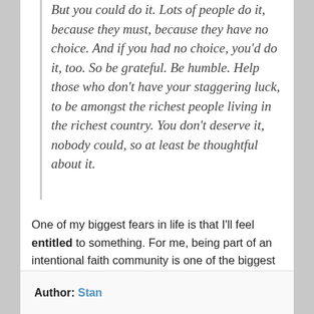But you could do it. Lots of people do it, because they must, because they have no choice. And if you had no choice, you'd do it, too. So be grateful. Be humble. Help those who don't have your staggering luck, to be amongst the richest people living in the richest country. You don't deserve it, nobody could, so at least be thoughtful about it.
One of my biggest fears in life is that I'll feel entitled to something. For me, being part of an intentional faith community is one of the biggest antidotes to feelings of entitlement. It helps me to keep in mind just how miniscule I am in the grand scheme of things.
Author: Stan